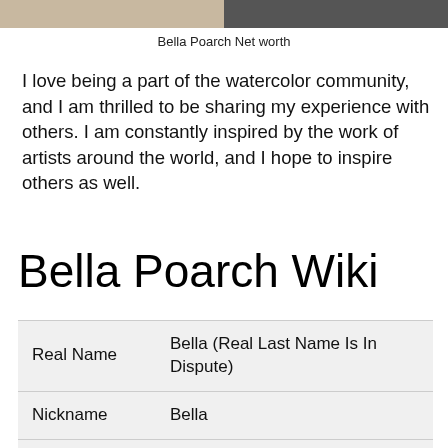[Figure (photo): Top portion of a split image showing two photos side by side, partially cropped]
Bella Poarch Net worth
I love being a part of the watercolor community, and I am thrilled to be sharing my experience with others. I am constantly inspired by the work of artists around the world, and I hope to inspire others as well.
Bella Poarch Wiki
| Real Name | Bella (Real Last Name Is In Dispute) |
| Nickname | Bella |
| Profession | Social Media / Content Creator |